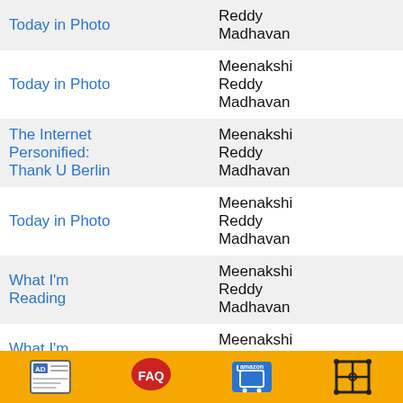| Title | Author |
| --- | --- |
| Today in Photo | Reddy Madhavan |
| Today in Photo | Meenakshi Reddy Madhavan |
| The Internet Personified: Thank U Berlin | Meenakshi Reddy Madhavan |
| Today in Photo | Meenakshi Reddy Madhavan |
| What I'm Reading | Meenakshi Reddy Madhavan |
| What I'm Reading | Meenakshi Reddy Madhavan |
| Today in Photo | Meenakshi Reddy Madhavan |
| Dad | Anonymous |
| (partial) | Meenakshi... |
[Figure (infographic): Bottom toolbar with orange background containing four icons: AD (advertisement), FAQ (speech bubble), Amazon shopping cart, and a camera/projector icon]